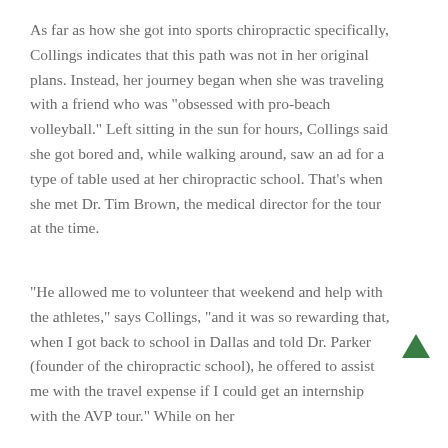As far as how she got into sports chiropractic specifically, Collings indicates that this path was not in her original plans. Instead, her journey began when she was traveling with a friend who was “obsessed with pro-beach volleyball.” Left sitting in the sun for hours, Collings said she got bored and, while walking around, saw an ad for a type of table used at her chiropractic school. That’s when she met Dr. Tim Brown, the medical director for the tour at the time.
“He allowed me to volunteer that weekend and help with the athletes,” says Collings, “and it was so rewarding that, when I got back to school in Dallas and told Dr. Parker (founder of the chiropractic school), he offered to assist me with the travel expense if I could get an internship with the AVP tour.” While on her